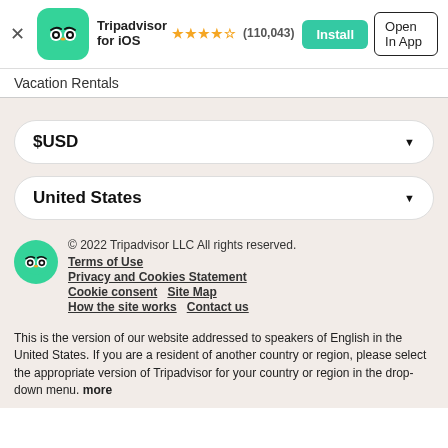[Figure (screenshot): Tripadvisor app banner with green owl icon, star rating 4.5 stars, (110,043) reviews, Install button and Open In App button]
Vacation Rentals
$USD
United States
© 2022 Tripadvisor LLC All rights reserved.
Terms of Use
Privacy and Cookies Statement
Cookie consent  Site Map
How the site works  Contact us
This is the version of our website addressed to speakers of English in the United States. If you are a resident of another country or region, please select the appropriate version of Tripadvisor for your country or region in the drop-down menu. more